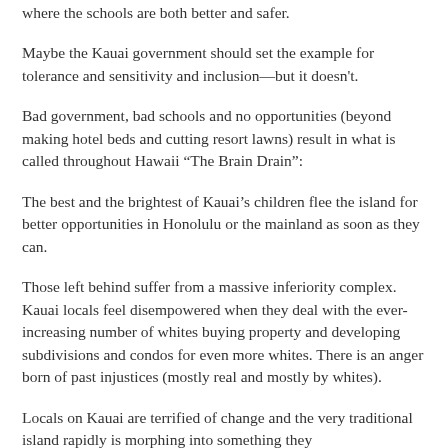where the schools are both better and safer.
Maybe the Kauai government should set the example for tolerance and sensitivity and inclusion—but it doesn't.
Bad government, bad schools and no opportunities (beyond making hotel beds and cutting resort lawns) result in what is called throughout Hawaii “The Brain Drain”:
The best and the brightest of Kauai’s children flee the island for better opportunities in Honolulu or the mainland as soon as they can.
Those left behind suffer from a massive inferiority complex. Kauai locals feel disempowered when they deal with the ever-increasing number of whites buying property and developing subdivisions and condos for even more whites. There is an anger born of past injustices (mostly real and mostly by whites).
Locals on Kauai are terrified of change and the very traditional island rapidly is morphing into something they